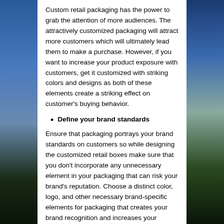Custom retail packaging has the power to grab the attention of more audiences. The attractively customized packaging will attract more customers which will ultimately lead them to make a purchase. However, if you want to increase your product exposure with customers, get it customized with striking colors and designs as both of these elements create a striking effect on customer's buying behavior.
Define your brand standards
Ensure that packaging portrays your brand standards on customers so while designing the customized retail boxes make sure that you don't incorporate any unnecessary element in your packaging that can risk your brand's reputation. Choose a distinct color, logo, and other necessary brand-specific elements for packaging that creates your brand recognition and increases your visibility.